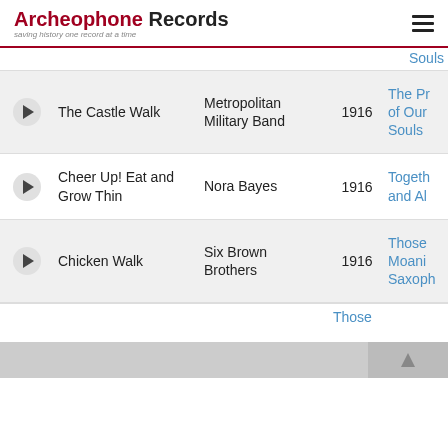Archeophone Records — saving history one record at a time
|  | Title | Artist | Year | Album |
| --- | --- | --- | --- | --- |
| ▶ | The Castle Walk | Metropolitan Military Band | 1916 | The Pr... of Our Souls |
| ▶ | Cheer Up! Eat and Grow Thin | Nora Bayes | 1916 | Togeth... and Al... |
| ▶ | Chicken Walk | Six Brown Brothers | 1916 | Those Moani... Saxoph... |